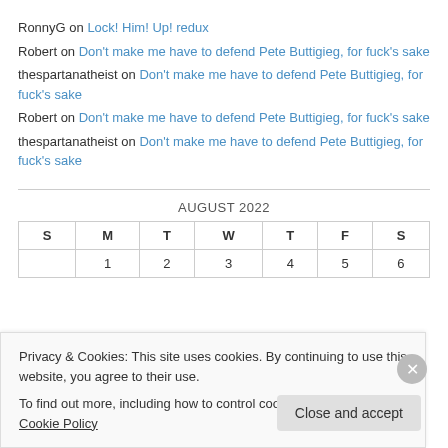RonnyG on Lock! Him! Up! redux
Robert on Don't make me have to defend Pete Buttigieg, for fuck's sake
thespartanatheist on Don't make me have to defend Pete Buttigieg, for fuck's sake
Robert on Don't make me have to defend Pete Buttigieg, for fuck's sake
thespartanatheist on Don't make me have to defend Pete Buttigieg, for fuck's sake
| S | M | T | W | T | F | S |
| --- | --- | --- | --- | --- | --- | --- |
|  | 1 | 2 | 3 | 4 | 5 | 6 |
Privacy & Cookies: This site uses cookies. By continuing to use this website, you agree to their use. To find out more, including how to control cookies, see here: Cookie Policy